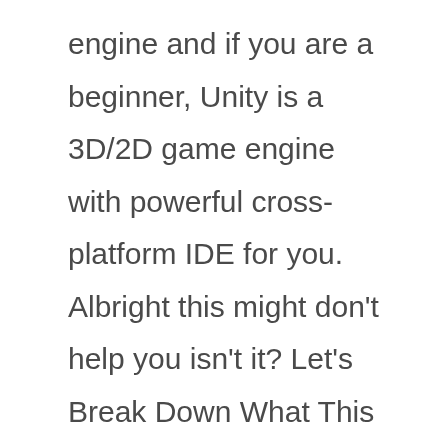engine and if you are a beginner, Unity is a 3D/2D game engine with powerful cross-platform IDE for you. Albright this might don't help you isn't it? Let's Break Down What This Means: Unity is a game engine that provides you great built-in features for your game application to work such as 3D, rendering, & collision detection. Now as a developer you don't have to reinvent the wheel like